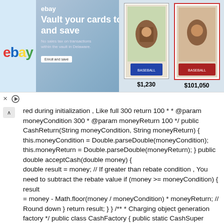[Figure (screenshot): eBay advertisement banner: 'Vault your cards today and save' with baseball cards showing prices $1,230 and $101,050]
red during initialization , Like full 300 return 100 * * @param moneyCondition 300 * @param moneyReturn 100 */ public CashReturn(String moneyCondition, String moneyReturn) { this.moneyCondition = Double.parseDouble(moneyCondition); this.moneyReturn = Double.parseDouble(moneyReturn); } public double acceptCash(double money) { double result = money; // If greater than rebate condition , You need to subtract the rebate value if (money >= moneyCondition) { result = money - Math.floor(money / moneyCondition) * moneyReturn; // Round down } return result; } } /** * Charging object generation factory */ public class CashFactory { public static CashSuper createashAccept(String type) { CashSuper cs = null; switch (type) { case " Normal charge ": cs= new CashNormal(); break; case " full 300 return 100": cs =